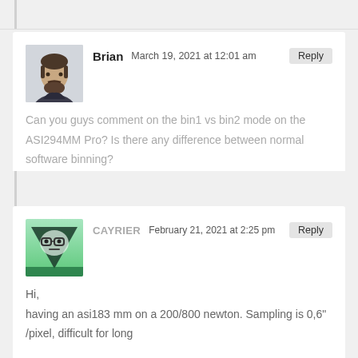Brian  March 19, 2021 at 12:01 am  Reply
Can you guys comment on the bin1 vs bin2 mode on the ASI294MM Pro? Is there any difference between normal software binning?
♥ 2   ♥̈ 0
CAYRIER  February 21, 2021 at 2:25 pm  Reply
Hi,
having an asi183 mm on a 200/800 newton. Sampling is 0,6" /pixel, difficult for long exposure.
Is it a good idea using binning 2×2 in this